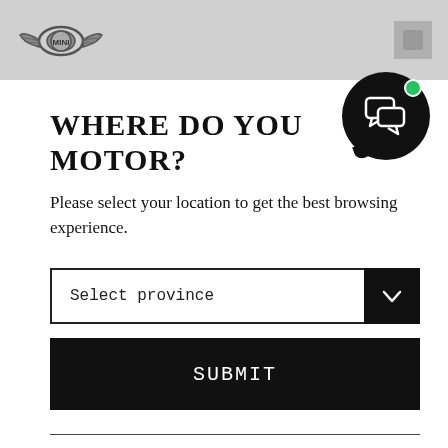[Figure (logo): MINI winged logo in greyscale on grey header bar]
[Figure (illustration): Black circular chat bubble icon with green notification dot in upper right]
WHERE DO YOU MOTOR?
Please select your location to get the best browsing experience.
Select province
SUBMIT
Cookies on the MINI Canada website.
We use cookies to ensure that we give you the best experience on our website. However, if you would like to, you can change your cookie settings at any time through your browser settings. We allow you to opt-in to additional storage of cookies that are not strictly necessary...